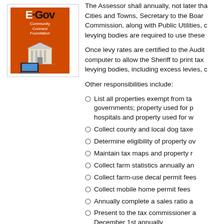[Figure (logo): E-Gov Community Connect Foundation logo: orange background with white text and a computer/government building illustration]
The Assessor shall annually, not later than Cities and Towns, Secretary to the Board Commission, along with Public Utilities, c levying bodies are required to use these
Once levy rates are certified to the Audit computer to allow the Sheriff to print tax levying bodies, including excess levies, c
Other responsibilities include:
List all properties exempt from tax governments; property used for p hospitals and property used for w
Collect county and local dog taxes
Determine eligibility of property ow
Maintain tax maps and property r
Collect farm statistics annually an
Collect farm-use decal permit fees
Collect mobile home permit fees
Annually complete a sales ratio a
Present to the tax commissioner a December 1st annually
Supply a list of new construction a year to the tax commissioner by D
Supply a list to the tax commissio